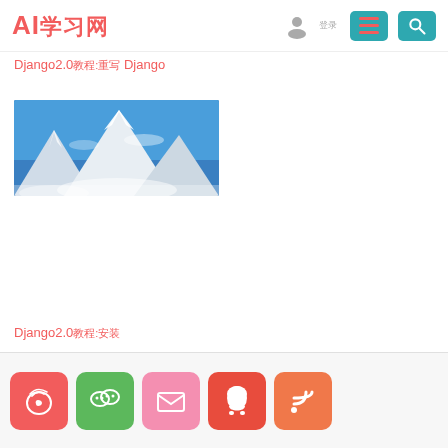AI学习网
Django2.0教程:重写 Django
[Figure (photo): Snow-capped mountain peaks against a blue sky]
Django2.0教程:安装
Social icons: Weibo, WeChat, Mail, QQ, RSS